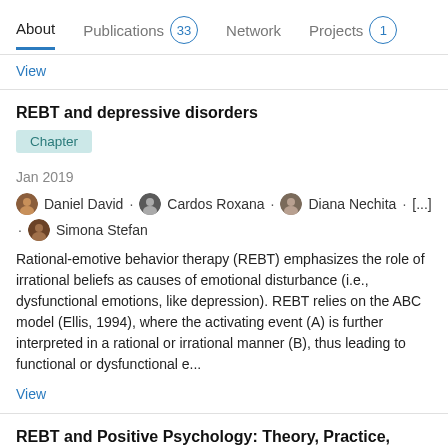About   Publications 33   Network   Projects 1
View
REBT and depressive disorders
Chapter
Jan 2019
Daniel David · Cardos Roxana · Diana Nechita · [...] · Simona Stefan
Rational-emotive behavior therapy (REBT) emphasizes the role of irrational beliefs as causes of emotional disturbance (i.e., dysfunctional emotions, like depression). REBT relies on the ABC model (Ellis, 1994), where the activating event (A) is further interpreted in a rational or irrational manner (B), thus leading to functional or dysfunctional e...
View
REBT and Positive Psychology: Theory, Practice, Research, Measurement, Prevention and Promotion